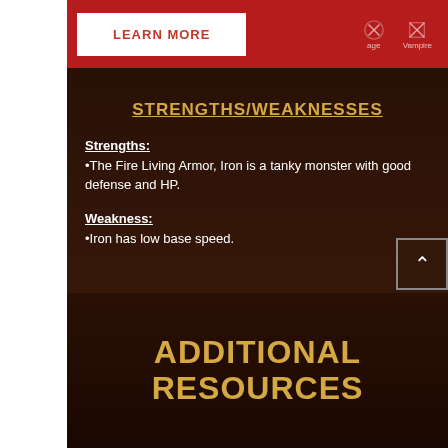[Figure (screenshot): Top red banner with LEARN MORE button and rune/vampire icons on right]
STRENGTHS/WEAKNESSES
Strengths:
•The Fire Living Armor, Iron is a tanky monster with good defense and HP.
Weakness:
•Iron has low base speed.
ADDITIONAL RESOURCES